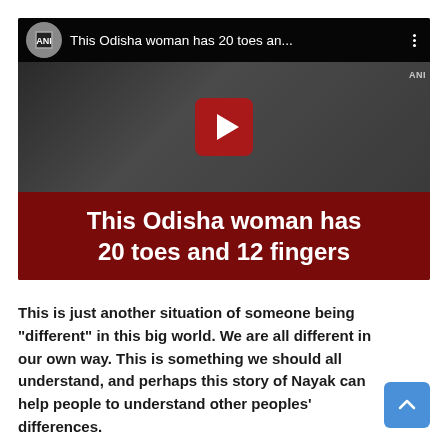[Figure (screenshot): YouTube video thumbnail showing 'This Odisha woman has 20 toes an...' from ANI channel, with feet visible and a red subtitle bar reading 'This Odisha woman has 20 toes and 12 fingers']
This is just another situation of someone being "different" in this big world. We are all different in our own way. This is something we should all understand, and perhaps this story of Nayak can help people to understand other peoples' differences.